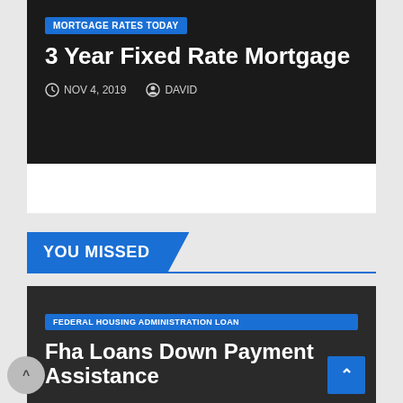MORTGAGE RATES TODAY
3 Year Fixed Rate Mortgage
NOV 4, 2019   DAVID
YOU MISSED
FEDERAL HOUSING ADMINISTRATION LOAN
Fha Loans Down Payment Assistance